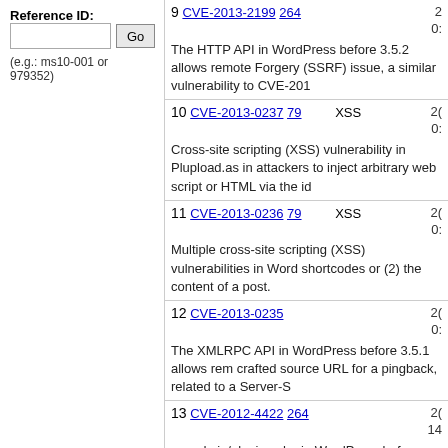Reference ID:
(e.g.: ms10-001 or 979352)
9 CVE-2013-2199 264 — The HTTP API in WordPress before 3.5.2 allows remote Forgery (SSRF) issue, a similar vulnerability to CVE-201
10 CVE-2013-0237 79 XSS — Cross-site scripting (XSS) vulnerability in Plupload.as in attackers to inject arbitrary web script or HTML via the id
11 CVE-2013-0236 79 XSS — Multiple cross-site scripting (XSS) vulnerabilities in Word shortcodes or (2) the content of a post.
12 CVE-2013-0235 — The XMLRPC API in WordPress before 3.5.1 allows rem crafted source URL for a pingback, related to a Server-S
13 CVE-2012-4422 264 — wp-admin/plugins.php in WordPress before 3.4.2, when wide activation of an installed plugin, which might allow r
14 CVE-2012-4421 264 Bypass — The create_post function in wp-includes/class-wp-atom